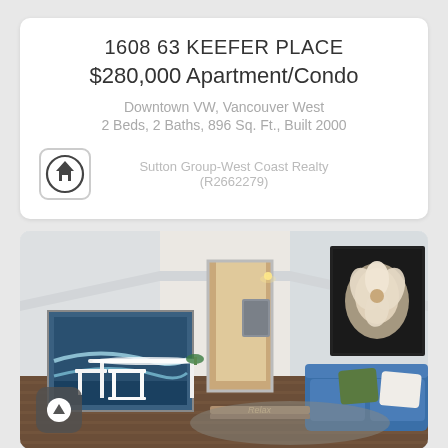1608 63 KEEFER PLACE
$280,000 Apartment/Condo
Downtown VW, Vancouver West
2 Beds, 2 Baths, 896 Sq. Ft., Built 2000
Sutton Group-West Coast Realty (R2662279)
[Figure (photo): Interior photo of a modern apartment living room with blue sofa, white dining table, wood coffee table, hardwood floors, and a magnolia painting on the wall]